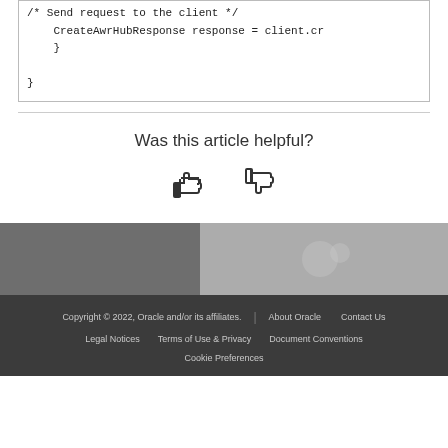/* Send request to the client */
    CreateAwrHubResponse response = client.cr
    }
}
Was this article helpful?
[Figure (illustration): Thumbs up and thumbs down icons for user feedback]
[Figure (photo): Background decorative image in grayscale, aerial or abstract texture]
Copyright © 2022, Oracle and/or its affiliates. | About Oracle | Contact Us | Legal Notices | Terms of Use & Privacy | Document Conventions | Cookie Preferences